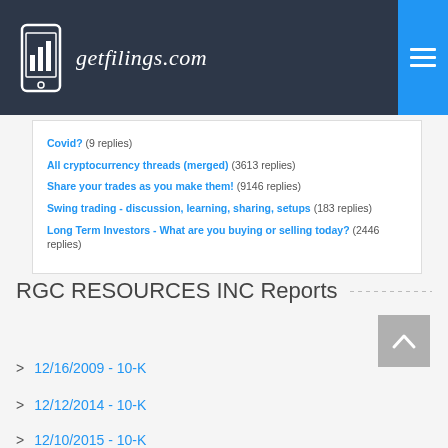getfilings.com
Covid? (9 replies)
All cryptocurrency threads (merged) (3613 replies)
Share your trades as you make them! (9146 replies)
Swing trading - discussion, learning, sharing, setups (183 replies)
Long Term Investors - What are you buying or selling today? (2446 replies)
RGC RESOURCES INC Reports
12/16/2009 - 10-K
12/12/2014 - 10-K
12/10/2015 - 10-K